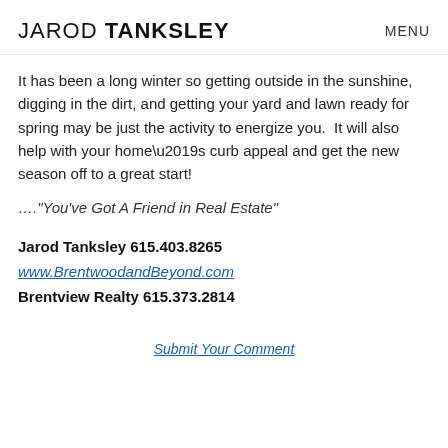JAROD TANKSLEY  MENU
It has been a long winter so getting outside in the sunshine, digging in the dirt, and getting your yard and lawn ready for spring may be just the activity to energize you.  It will also help with your home’s curb appeal and get the new season off to a great start!
….“You’ve Got A Friend in Real Estate”
Jarod Tanksley 615.403.8265
www.BrentwoodandBeyond.com
Brentview Realty 615.373.2814
Submit Your Comment